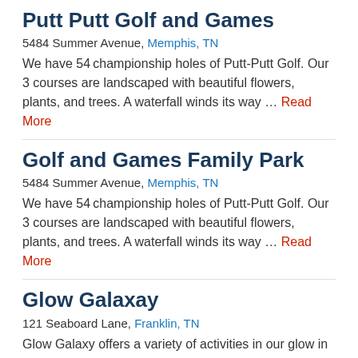Putt Putt Golf and Games
5484 Summer Avenue, Memphis, TN
We have 54 championship holes of Putt-Putt Golf. Our 3 courses are landscaped with beautiful flowers, plants, and trees. A waterfall winds its way … Read More
Golf and Games Family Park
5484 Summer Avenue, Memphis, TN
We have 54 championship holes of Putt-Putt Golf. Our 3 courses are landscaped with beautiful flowers, plants, and trees. A waterfall winds its way … Read More
Glow Galaxay
121 Seaboard Lane, Franklin, TN
Glow Galaxy offers a variety of activities in our glow in